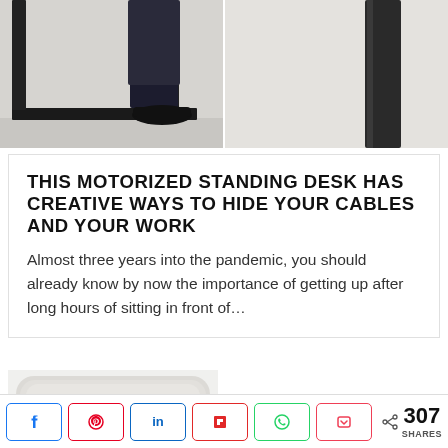[Figure (photo): Two-panel photo: left panel shows bottom of a motorized standing desk with black metal frame and a person's foot/shoe on the ground; right panel shows the upper tall leg of the same desk against a light grey background.]
THIS MOTORIZED STANDING DESK HAS CREATIVE WAYS TO HIDE YOUR CABLES AND YOUR WORK
Almost three years into the pandemic, you should already know by now the importance of getting up after long hours of sitting in front of…
[Figure (photo): Partial image of a light grey padded object (likely a wrist rest or cushion) with rounded edges, partially visible at bottom of page.]
307 SHARES